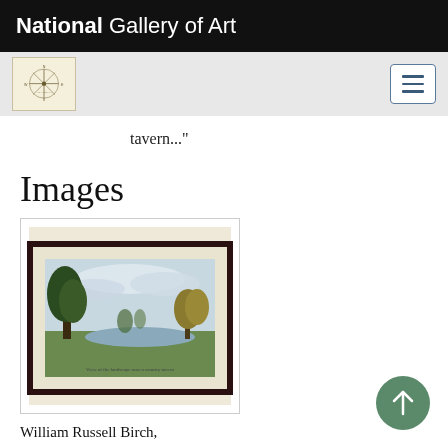National Gallery of Art
tavern..."
Images
[Figure (photo): Framed landscape painting showing trees and water, likely a William Russell Birch work, mounted in a dark frame with cream mat, displayed on white background]
William Russell Birch,